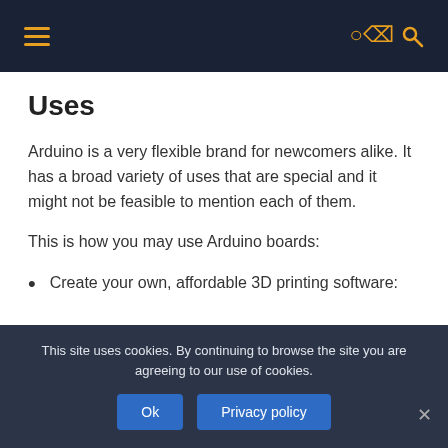Navigation bar with menu and search icons
Uses
Arduino is a very flexible brand for newcomers alike. It has a broad variety of uses that are special and it might not be feasible to mention each of them.
This is how you may use Arduino boards:
Create your own, affordable 3D printing software:
This site uses cookies. By continuing to browse the site you are agreeing to our use of cookies.